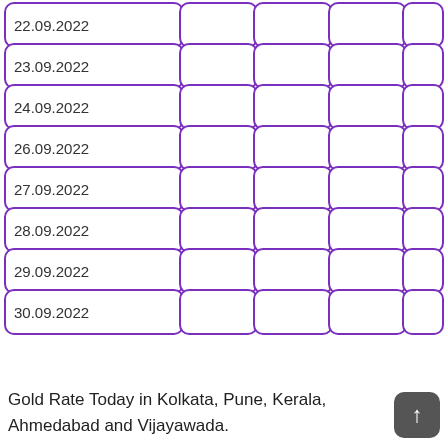| Date |  |  |  |  |
| --- | --- | --- | --- | --- |
| 22.09.2022 |  |  |  |  |
| 23.09.2022 |  |  |  |  |
| 24.09.2022 |  |  |  |  |
| 26.09.2022 |  |  |  |  |
| 27.09.2022 |  |  |  |  |
| 28.09.2022 |  |  |  |  |
| 29.09.2022 |  |  |  |  |
| 30.09.2022 |  |  |  |  |
Gold Rate Today in Kolkata, Pune, Kerala, Ahmedabad and Vijayawada.